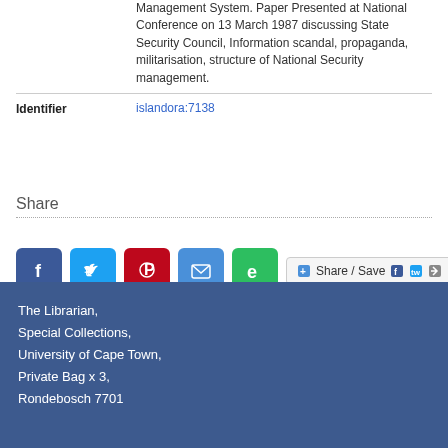Management System. Paper Presented at National Conference on 13 March 1987 discussing State Security Council, Information scandal, propaganda, militarisation, structure of National Security management.
|  |  |
| --- | --- |
| Identifier | islandora:7138 |
Share
[Figure (other): Social share buttons: Facebook, Twitter, Pinterest, Email, Evernote, and Share/Save button]
The Librarian, Special Collections, University of Cape Town, Private Bag x 3, Rondebosch 7701